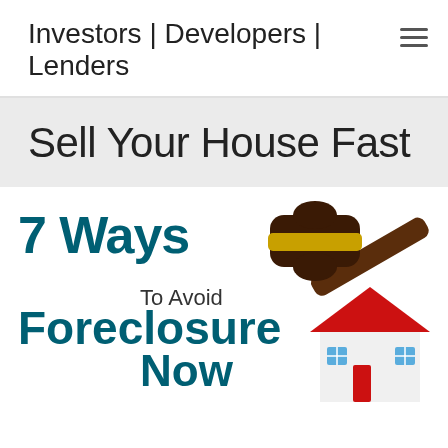Investors | Developers | Lenders
Sell Your House Fast
[Figure (infographic): Infographic showing a gavel striking a red-roofed house model with text reading '7 Ways To Avoid Foreclosure Now' in dark teal bold lettering on a white background.]